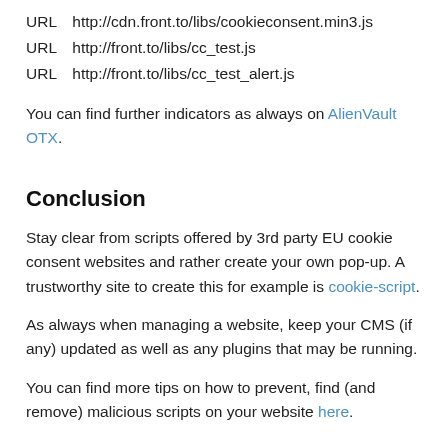URL  http://cdn.front.to/libs/cookieconsent.min3.js
URL  http://front.to/libs/cc_test.js
URL  http://front.to/libs/cc_test_alert.js
You can find further indicators as always on AlienVault OTX.
Conclusion
Stay clear from scripts offered by 3rd party EU cookie consent websites and rather create your own pop-up. A trustworthy site to create this for example is cookie-script.
As always when managing a website, keep your CMS (if any) updated as well as any plugins that may be running.
You can find more tips on how to prevent, find (and remove) malicious scripts on your website here.